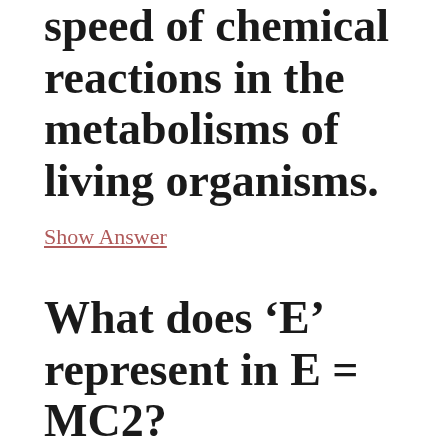speed of chemical reactions in the metabolisms of living organisms.
Show Answer
What does ‘E’ represent in E = MC2?
Show Answer
Which scientist won the Nobel Prize for